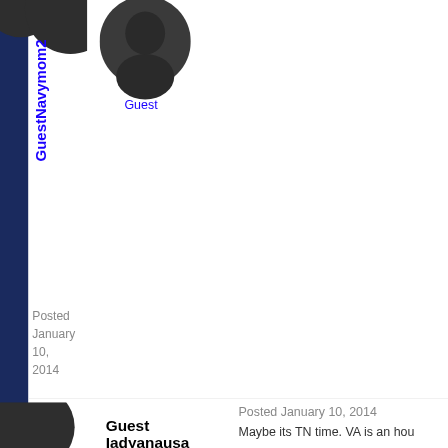[Figure (photo): Dark circular user avatar partially cropped at top left corner]
[Figure (photo): Dark circular user avatar (center top area) with 'Guest' label below]
GuestNavymom2
Posted January 10, 2014
Posted January 10, 2014
Maybe its TN time. VA is an hou
Guest Iadyanausa